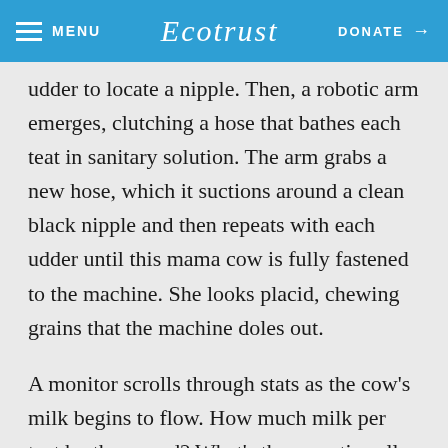MENU  Ecotrust  DONATE →
udder to locate a nipple. Then, a robotic arm emerges, clutching a hose that bathes each teat in sanitary solution. The arm grabs a new hose, which it suctions around a clean black nipple and then repeats with each udder until this mama cow is fully fastened to the machine. She looks placid, chewing grains that the machine doles out.
A monitor scrolls through stats as the cow's milk begins to flow. How much milk per teat by the pound? What's the somatic cell count (an